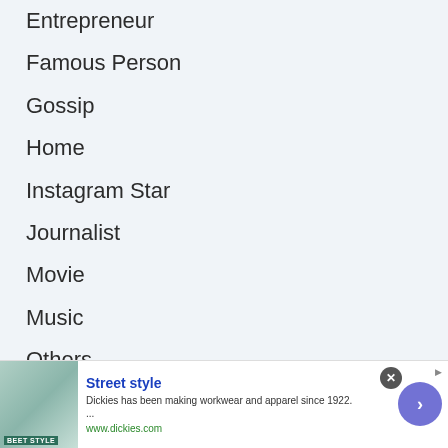Entrepreneur
Famous Person
Gossip
Home
Instagram Star
Journalist
Movie
Music
Others
Politician
Sports
Star kids
TikTok Star
[Figure (other): Advertisement banner for Dickies workwear with image of woman in street style outfit, text 'Street style', description 'Dickies has been making workwear and apparel since 1922. ...', URL 'www.dickies.com', close button, and arrow button]